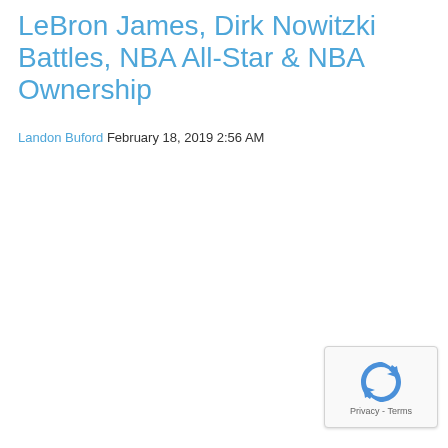LeBron James, Dirk Nowitzki Battles, NBA All-Star & NBA Ownership
Landon Buford February 18, 2019 2:56 AM
[Figure (other): reCAPTCHA badge with circular arrow icon and 'Privacy - Terms' text]